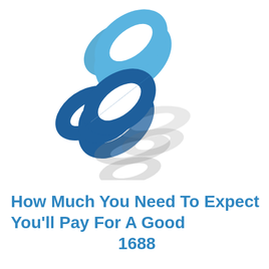[Figure (logo): A chain link icon in blue tones (dark blue and light blue interlocked oval chain links, rotated diagonally) with a grey reflection/shadow below it on a white background.]
How Much You Need To Expect You'll Pay For A Good 1688